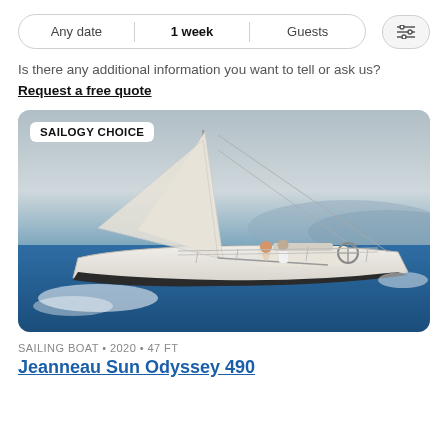Any date | 1 week | Guests | filter icon
Is there any additional information you want to tell or ask us?
Request a free quote
[Figure (photo): Sailogy Choice: A white Jeanneau Sun Odyssey 490 sailing yacht at sea with two people on deck, sails raised, blue water and hazy hills in background.]
SAILING BOAT • 2020 • 47 FT
Jeanneau Sun Odyssey 490